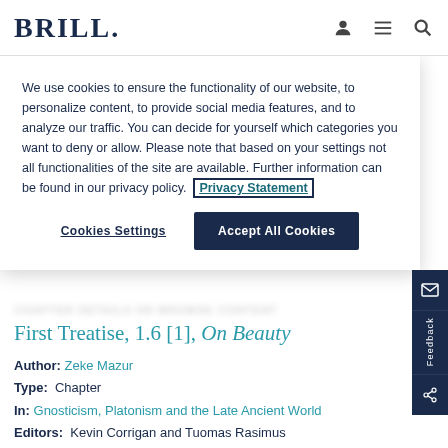BRILL
We use cookies to ensure the functionality of our website, to personalize content, to provide social media features, and to analyze our traffic. You can decide for yourself which categories you want to deny or allow. Please note that based on your settings not all functionalities of the site are available. Further information can be found in our privacy policy. Privacy Statement
Cookies Settings   Accept All Cookies
First Treatise, 1.6 [1], On Beauty
Author: Zeke Mazur
Type: Chapter
In: Gnosticism, Platonism and the Late Ancient World
Editors: Kevin Corrigan and Tuomas Rasimus
E-Book ISBN: 9789004254763